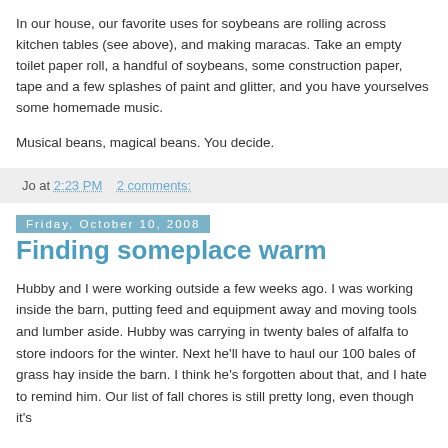In our house, our favorite uses for soybeans are rolling across kitchen tables (see above), and making maracas. Take an empty toilet paper roll, a handful of soybeans, some construction paper, tape and a few splashes of paint and glitter, and you have yourselves some homemade music.

Musical beans, magical beans. You decide.
Jo at 2:23 PM    2 comments:
Friday, October 10, 2008
Finding someplace warm
Hubby and I were working outside a few weeks ago. I was working inside the barn, putting feed and equipment away and moving tools and lumber aside. Hubby was carrying in twenty bales of alfalfa to store indoors for the winter. Next he'll have to haul our 100 bales of grass hay inside the barn. I think he's forgotten about that, and I hate to remind him. Our list of fall chores is still pretty long, even though it's